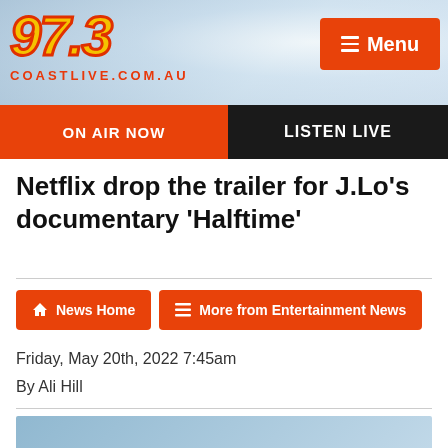97.3 COASTLIVE.COM.AU
ON AIR NOW
LISTEN LIVE
Netflix drop the trailer for J.Lo's documentary 'Halftime'
News Home
More from Entertainment News
Friday, May 20th, 2022 7:45am
By Ali Hill
[Figure (photo): Sky/cloud background image at the bottom of the article]